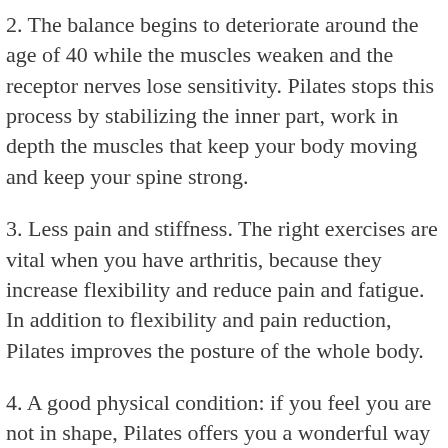2. The balance begins to deteriorate around the age of 40 while the muscles weaken and the receptor nerves lose sensitivity. Pilates stops this process by stabilizing the inner part, work in depth the muscles that keep your body moving and keep your spine strong.
3. Less pain and stiffness. The right exercises are vital when you have arthritis, because they increase flexibility and reduce pain and fatigue. In addition to flexibility and pain reduction, Pilates improves the posture of the whole body.
4. A good physical condition: if you feel you are not in shape, Pilates offers you a wonderful way to return to an enviable physical condition.